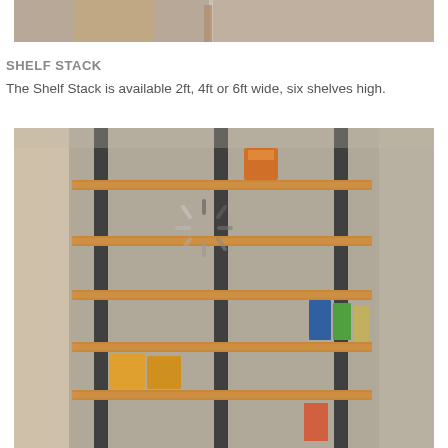[Figure (photo): Partial photo at top showing wooden structure or door with concrete background, appears to be a container or shed interior]
SHELF STACK
The Shelf Stack is available 2ft, 4ft or 6ft wide, six shelves high.
[Figure (photo): Photo of a wall-mounted wooden shelf stack with metal brackets inside a storage container, loaded with various paint cans and containers across multiple shelves. A loading spinner icon is overlaid on the image.]